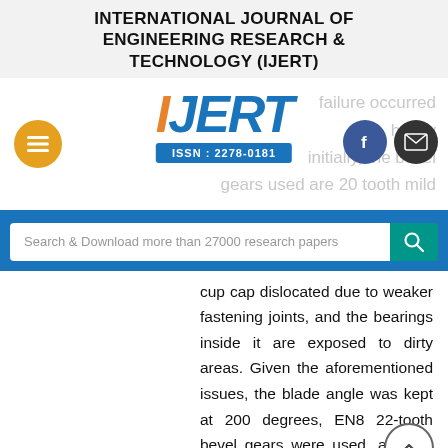INTERNATIONAL JOURNAL OF ENGINEERING RESEARCH & TECHNOLOGY (IJERT)
[Figure (logo): IJERT logo with orange I, blue JERT letters, ISSN: 2278-0181 bar, hamburger menu button, Facebook and email icons, ghost text reading 'failure occurred heavy initially, the bevel gears used are 20 tooth mild']
Search & Download more than 27000 research papers
cup cap dislocated due to weaker fastening joints, and the bearings inside it are exposed to dirty areas. Given the aforementioned issues, the blade angle was kept at 200 degrees, EN8 22-tooth bevel gears were used, and the bearing cup cap was tightened with extra